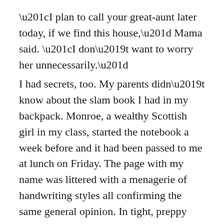“I plan to call your great-aunt later today, if we find this house,” Mama said. “I don’t want to worry her unnecessarily.”
I had secrets, too. My parents didn’t know about the slam book I had in my backpack. Monroe, a wealthy Scottish girl in my class, started the notebook a week before and it had been passed to me at lunch on Friday. The page with my name was littered with a menagerie of handwriting styles all confirming the same general opinion. In tight, preppy script the word zero slanted diagonally next to a willowy loser and a cursive ugly. My classmates had unflattering descriptors written about them, but the dozens of zeroes, numerical and spelled out, on my page left me unable to breathe. The most disturbing comment was written by a girl named Jeffmy who asked